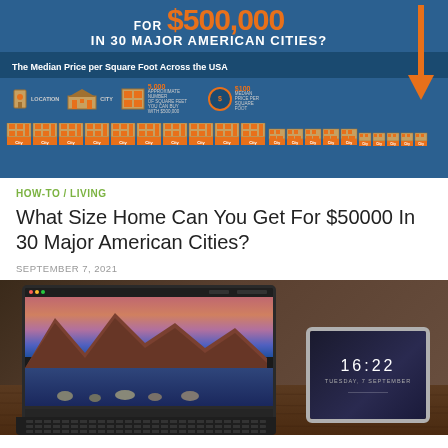[Figure (infographic): Infographic on blue background: 'FOR $500,000 IN 30 MAJOR AMERICAN CITIES?' with subtitle 'The Median Price per Square Foot Across the USA'. Legend shows: Location icon, City icon, Approximate number of square feet you can buy with $500,000 (5,000), Median Price Per Square Foot ($100). Row of house/grid icons representing cities.]
HOW-TO / LIVING
What Size Home Can You Get For $50000 In 30 Major American Cities?
SEPTEMBER 7, 2021
[Figure (photo): Photo of a MacBook laptop with a mountain lake wallpaper on its screen, and a tablet device showing 16:22 on its lock screen, both on a wooden surface.]